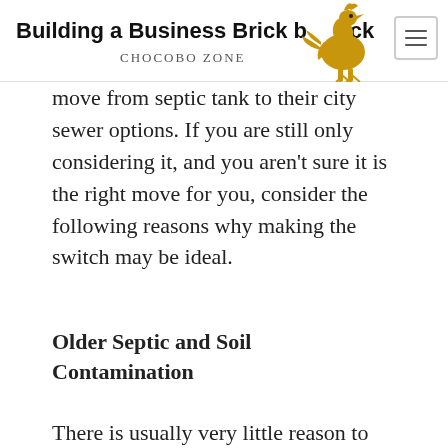Building a Business Brick by Brick – CHOCOBO ZONE
move from septic tank to their city sewer options. If you are still only considering it, and you aren't sure it is the right move for you, consider the following reasons why making the switch may be ideal.
Older Septic and Soil Contamination
There is usually very little reason to remove a